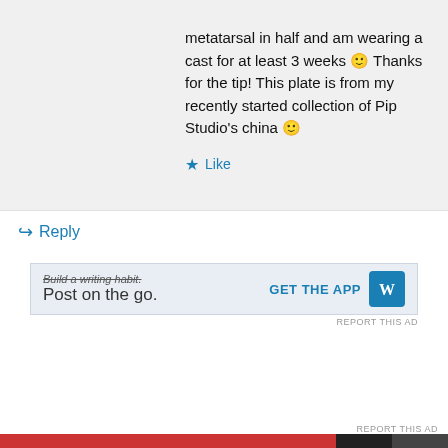metatarsal in half and am wearing a cast for at least 3 weeks 🙂 Thanks for the tip! This plate is from my recently started collection of Pip Studio's china 🙂
★ Like
↪ Reply
[Figure (screenshot): WordPress 'Build a writing habit. Post on the go.' advertisement with GET THE APP button and WordPress logo]
REPORT THIS AD
Privacy & Cookies: This site uses cookies. By continuing to use this website, you agree to their use.
To find out more, including how to control cookies, see here: Cookie Policy
Close and accept